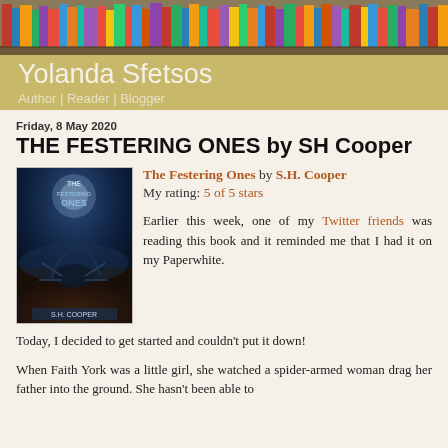Yolanda Sfetsos
Author | Reader | Blogger
Friday, 8 May 2020
THE FESTERING ONES by SH Cooper
[Figure (photo): Book cover of The Festering Ones by S.H. Cooper, showing a dark fantasy illustration with a spider-like creature]
The Festering Ones by S.H. Cooper
My rating: 5 of 5 stars
Earlier this week, one of my Twitter friends was reading this book and it reminded me that I had it on my Paperwhite.
Today, I decided to get started and couldn't put it down!
When Faith York was a little girl, she watched a spider-armed woman drag her father into the ground. She hasn't been able to